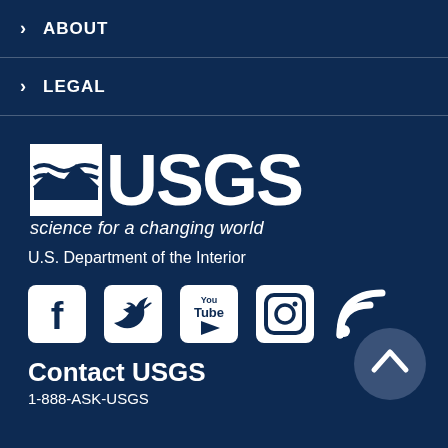> ABOUT
> LEGAL
[Figure (logo): USGS logo with wave graphic and tagline 'science for a changing world', U.S. Geological Survey]
U.S. Department of the Interior
[Figure (infographic): Social media icons: Facebook, Twitter, YouTube, Instagram, RSS feed]
Contact USGS
1-888-ASK-USGS